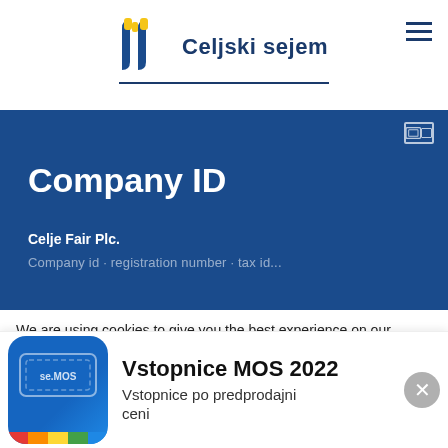Celjski sejem
Company ID
Celje Fair Plc.
We are using cookies to give you the best experience on our website.
You can find out more about which cookies we are using or switch
[Figure (screenshot): Vstopnice MOS 2022 promo banner with ticket icon and color bar]
Vstopnice MOS 2022
Vstopnice po predprodajni ceni